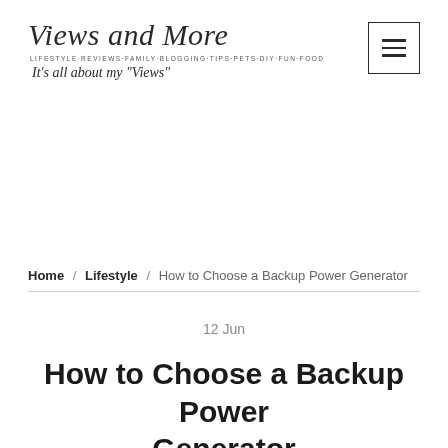Views and More — Lifestyle-Reviews-Family-Blogging-Tips-Pets-DIY-Fun-Food — It's all about my 'Views'
Home / Lifestyle / How to Choose a Backup Power Generator
12 Jun
How to Choose a Backup Power Generator